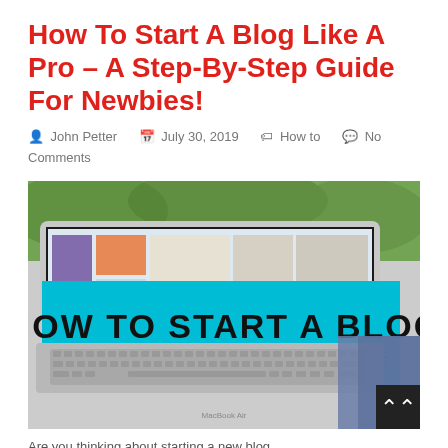How To Start A Blog Like A Pro – A Step-By-Step Guide For Newbies!
John Petter   July 30, 2019   How to   No Comments
[Figure (photo): MacBook laptop open outdoors on a person's lap, with a teal/cyan overlay banner reading 'HOW TO START A BLOG – BEGINNERS BLOGGING GUIDE' in bold black text.]
Are you thinking about starting a new blog...